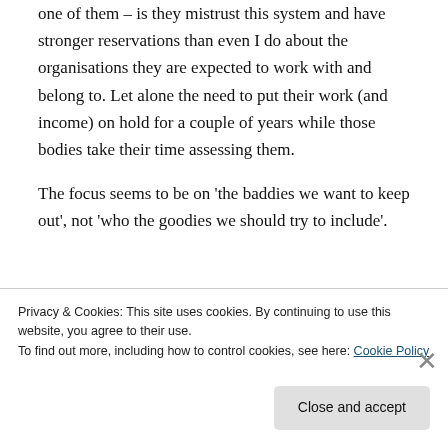one of them – is they mistrust this system and have stronger reservations than even I do about the organisations they are expected to work with and belong to. Let alone the need to put their work (and income) on hold for a couple of years while those bodies take their time assessing them.
The focus seems to be on 'the baddies we want to keep out', not 'who the goodies we should try to include'.
Privacy & Cookies: This site uses cookies. By continuing to use this website, you agree to their use.
To find out more, including how to control cookies, see here: Cookie Policy